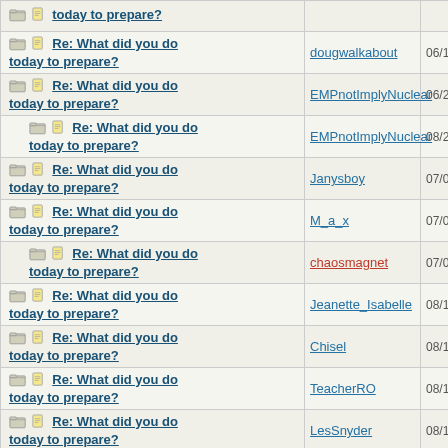| Topic | Author | Date |
| --- | --- | --- |
| Re: What did you do today to prepare? | dougwalkabout | 06/15/20 07:33 P |
| Re: What did you do today to prepare? | EMPnotImplyNuclear | 06/23/20 01:12 A |
| Re: What did you do today to prepare? | EMPnotImplyNuclear | 08/21/20 03:21 A |
| Re: What did you do today to prepare? | Janysboy | 07/02/20 09:43 A |
| Re: What did you do today to prepare? | M_a_x | 07/02/20 02:11 P |
| Re: What did you do today to prepare? | chaosmagnet | 07/02/20 07:48 P |
| Re: What did you do today to prepare? | Jeanette_Isabelle | 08/12/20 12:13 A |
| Re: What did you do today to prepare? | Chisel | 08/12/20 07:00 P |
| Re: What did you do today to prepare? | TeacherRO | 08/12/20 10:33 P |
| Re: What did you do today to prepare? | LesSnyder | 08/13/20 02:23 A |
| Re: What did you do today to prepare? | DaveL | 08/21/20 04:59 P |